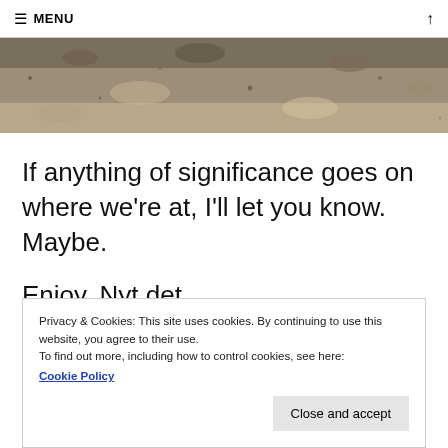≡ MENU
[Figure (photo): A close-up photograph of sandy/gravelly ground surface, cropped at the top of the page]
If anything of significance goes on where we're at, I'll let you know. Maybe.
Enjoy. Nyt det.
Privacy & Cookies: This site uses cookies. By continuing to use this website, you agree to their use.
To find out more, including how to control cookies, see here:
Cookie Policy
Close and accept